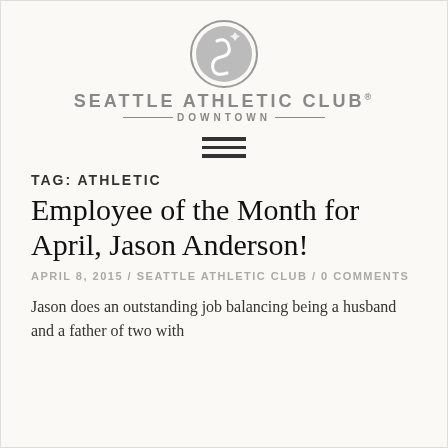[Figure (logo): Seattle Athletic Club Downtown logo with circular emblem and stylized text]
[Figure (other): Hamburger menu icon (three horizontal lines)]
TAG: ATHLETIC
Employee of the Month for April, Jason Anderson!
APRIL 8, 2015 / SEATTLE ATHLETIC CLUB / 0 COMMENTS
Jason does an outstanding job balancing being a husband and a father of two with